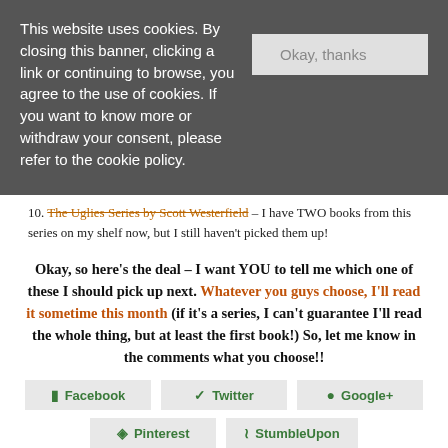This website uses cookies. By closing this banner, clicking a link or continuing to browse, you agree to the use of cookies. If you want to know more or withdraw your consent, please refer to the cookie policy.
Okay, thanks
10. The Uglies Series by Scott Westerfield – I have TWO books from this series on my shelf now, but I still haven't picked them up!
Okay, so here's the deal – I want YOU to tell me which one of these I should pick up next. Whatever you guys choose, I'll read it sometime this month (if it's a series, I can't guarantee I'll read the whole thing, but at least the first book!) So, let me know in the comments what you choose!!
Facebook
Twitter
Google+
Pinterest
StumbleUpon